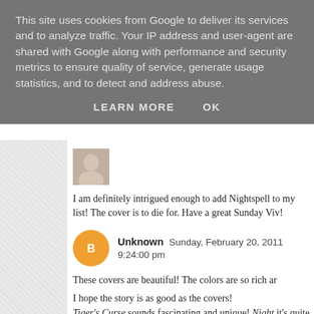This site uses cookies from Google to deliver its services and to analyze traffic. Your IP address and user-agent are shared with Google along with performance and security metrics to ensure quality of service, generate usage statistics, and to detect and address abuse.
LEARN MORE    OK
I am definitely intrigued enough to add Nightspell to my list! The cover is to die for. Have a great Sunday Viv!
Reply
Unknown  Sunday, February 20, 2011 9:24:00 pm
These covers are beautiful! The colors are so rich ar…
I hope the story is as good as the covers! Tiger's Curse sounds fascinating and unique! Night… it's quite my taste. Still, I'm ntrigued.
Reply